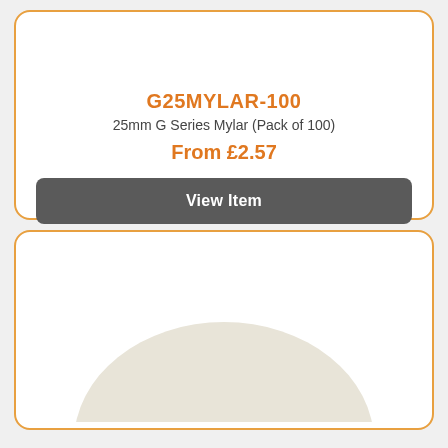G25MYLAR-100
25mm G Series Mylar (Pack of 100)
From £2.57
View Item
CODE: G25MYLAR-100
[Figure (photo): White/cream circular disc product photo, partially visible at bottom of page]